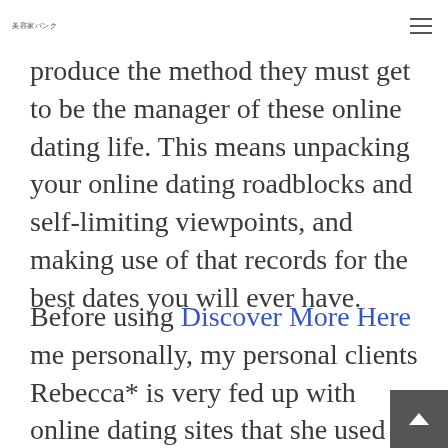美容家バンク
produce the method they must get to be the manager of these online dating life. This means unpacking your online dating roadblocks and self-limiting viewpoints, and making use of that records for the best dates you will ever have.
Before using Discover More Here me personally, my personal clients Rebecca* is very fed up with online dating sites that she used a huge amount of money in a matchmaking provider. After happening